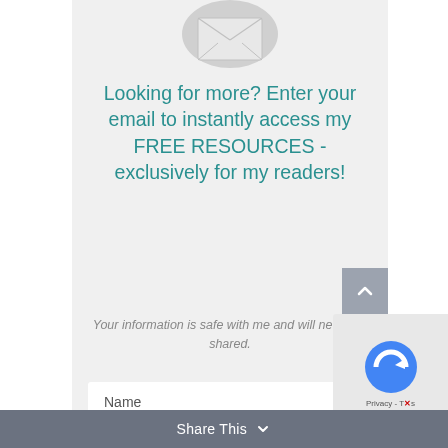[Figure (illustration): Gray envelope/email icon at top of signup widget]
Looking for more? Enter your email to instantly access my FREE RESOURCES - exclusively for my readers!
Your information is safe with me and will never be shared.
Name
Email
Share This